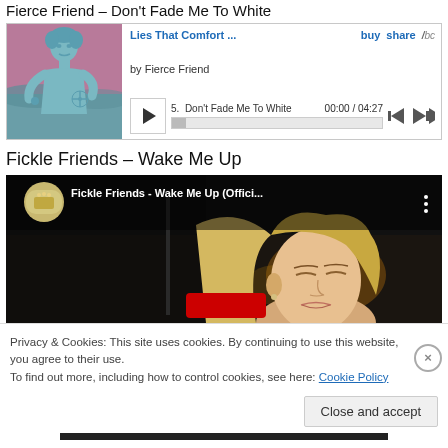Fierce Friend – Don't Fade Me To White
[Figure (screenshot): Bandcamp music player widget showing album art (teal-tinted statue on pink background) for 'Lies That Comfort ...' by Fierce Friend. Track 5: Don't Fade Me To White, 00:00 / 04:27, with play button, progress bar, and skip controls.]
Fickle Friends – Wake Me Up
[Figure (screenshot): YouTube video embed showing 'Fickle Friends - Wake Me Up (Offici...' with channel avatar (circular, showing a venue with people), title text on dark background, and a preview still of a young woman with blonde hair in a car at night with city lights.]
Privacy & Cookies: This site uses cookies. By continuing to use this website, you agree to their use.
To find out more, including how to control cookies, see here: Cookie Policy
Close and accept